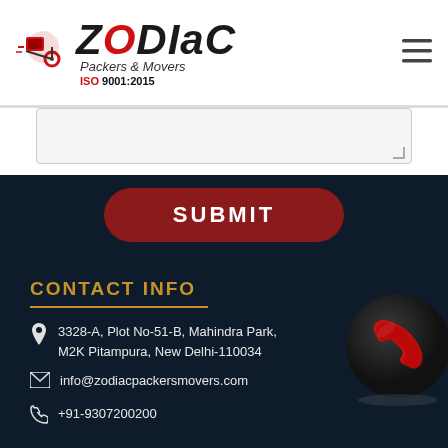[Figure (logo): Zodiac Packers & Movers logo with ISO 9001:2015 text and hamburger menu icon]
SUBMIT
CONTACT INFO
3328-A, Plot No-51-B, Mahindra Park, M2K Pitampura, New Delhi-110034
info@zodiacpackersmovers.com
+91-9307200200
[Figure (illustration): Red and black glossy telephone icon on dark circular background]